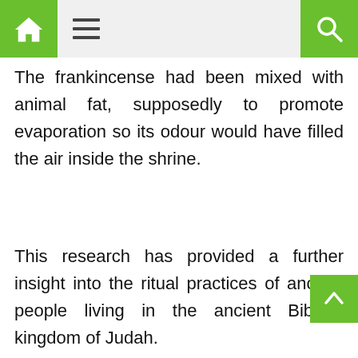[Home icon] [Menu icon] [Search icon]
The frankincense had been mixed with animal fat, supposedly to promote evaporation so its odour would have filled the air inside the shrine.
This research has provided a further insight into the ritual practices of ancient people living in the ancient Biblical kingdom of Judah.